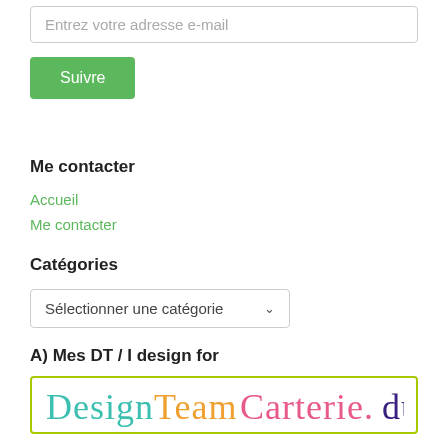Entrez votre adresse e-mail
Suivre
Me contacter
Accueil
Me contacter
Catégories
Sélectionner une catégorie
A) Mes DT / I design for
[Figure (logo): Design Team Carterie du logo with colourful cursive lettering inside a yellow-green border]